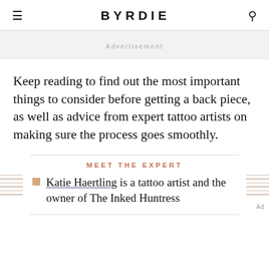BYRDIE
Advertisement
Keep reading to find out the most important things to consider before getting a back piece, as well as advice from expert tattoo artists on making sure the process goes smoothly.
MEET THE EXPERT
Katie Haertling is a tattoo artist and the owner of The Inked Huntress